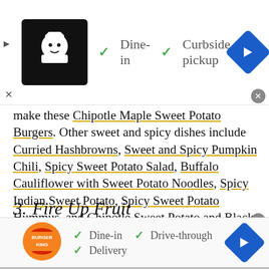[Figure (screenshot): Top advertisement banner with restaurant logo, Dine-in and Curbside pickup checkmarks, and navigation icon]
make these Chipotle Maple Sweet Potato Burgers. Other sweet and spicy dishes include Curried Hashbrowns, Sweet and Spicy Pumpkin Chili, Spicy Sweet Potato Salad, Buffalo Cauliflower with Sweet Potato Noodles, Spicy Indian Sweet Potato, Spicy Sweet Potato Hummus, and Chipotle Sweet Potato and Black Bean Chili.
3. Fire Up Fruit
[Figure (screenshot): Bottom advertisement banner with Burger King logo, Dine-in, Drive-through, and Delivery checkmarks, and navigation icon]